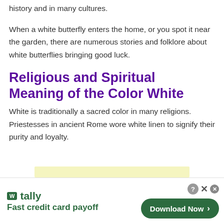history and in many cultures.
When a white butterfly enters the home, or you spot it near the garden, there are numerous stories and folklore about white butterflies bringing good luck.
Religious and Spiritual Meaning of the Color White
White is traditionally a sacred color in many religions. Priestesses in ancient Rome wore white linen to signify their purity and loyalty.
[Figure (other): Advertisement banner for Tally app — Fast credit card payoff with Download Now button]
[Figure (other): Yellow highlight bar partially visible above the advertisement]